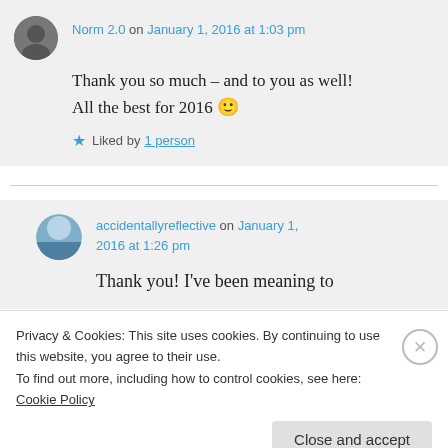Norm 2.0 on January 1, 2016 at 1:03 pm
Thank you so much – and to you as well! All the best for 2016 🙂
★ Liked by 1 person
accidentallyreflective on January 1, 2016 at 1:26 pm
Thank you! I've been meaning to
Privacy & Cookies: This site uses cookies. By continuing to use this website, you agree to their use. To find out more, including how to control cookies, see here: Cookie Policy
Close and accept